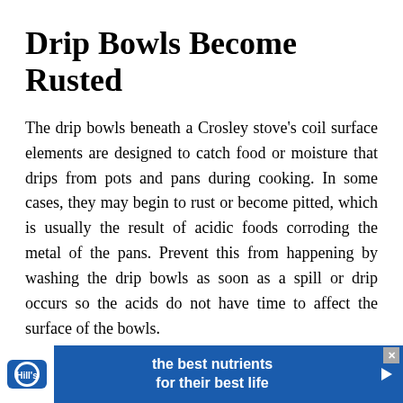Drip Bowls Become Rusted
The drip bowls beneath a Crosley stove's coil surface elements are designed to catch food or moisture that drips from pots and pans during cooking. In some cases, they may begin to rust or become pitted, which is usually the result of acidic foods corroding the metal of the pans. Prevent this from happening by washing the drip bowls as soon as a spill or drip occurs so the acids do not have time to affect the surface of the bowls.
[Figure (other): Advertisement banner for Hill's pet nutrition: logo on left (Hill's brand mark), blue background with text 'the best nutrients for their best life', arrow on right, close button top-right.]